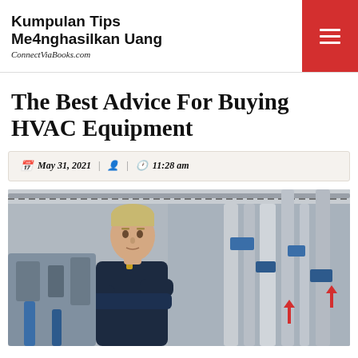Kumpulan Tips Me4nghasilkan Uang
ConnectViaBooks.com
The Best Advice For Buying HVAC Equipment
May 31, 2021 | 11:28 am
[Figure (photo): Young male HVAC technician in dark blue uniform standing with arms crossed in front of industrial HVAC piping and equipment in a mechanical room]